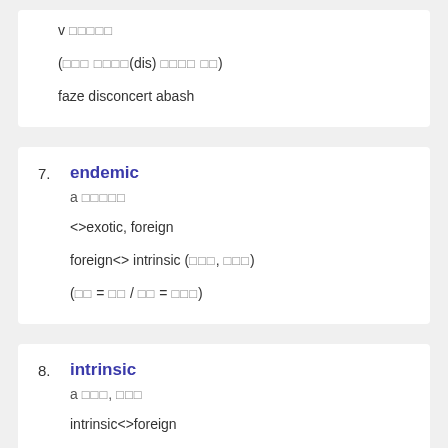v [korean chars]
([korean chars](dis) [korean chars])
faze disconcert abash
7. endemic
a [korean chars]
<>exotic, foreign
foreign<> intrinsic ([korean chars], [korean chars])
([korean chars] = [korean chars] / [korean chars] = [korean chars])
8. intrinsic
a [korean chars], [korean chars]
intrinsic<>foreign